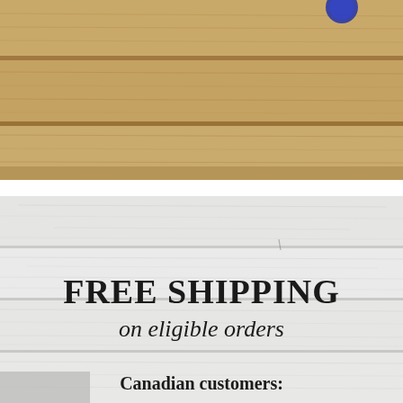[Figure (photo): Close-up photo of weathered wooden boards with warm tan/brown tones and a small blue circular object visible at the top edge.]
[Figure (photo): Photo of whitewashed/painted wooden planks with a light grey-white texture, containing overlaid promotional text about free shipping.]
FREE SHIPPING
on eligible orders
Canadian customers: